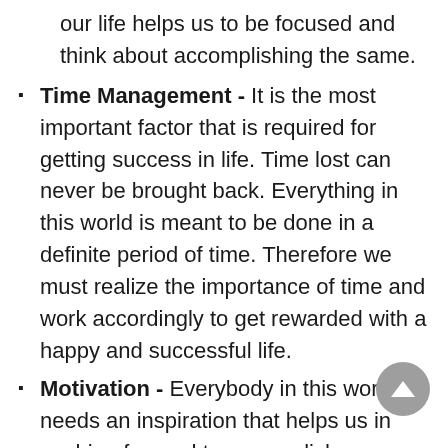our life helps us to be focused and think about accomplishing the same.
Time Management - It is the most important factor that is required for getting success in life. Time lost can never be brought back. Everything in this world is meant to be done in a definite period of time. Therefore we must realize the importance of time and work accordingly to get rewarded with a happy and successful life.
Motivation - Everybody in this world needs an inspiration that helps us in pushing forward to accomplish our goals of life. It is something that instills a spark in us and gives us positive energy to work with dedication.
Hard Work - There is no substitute for the hard